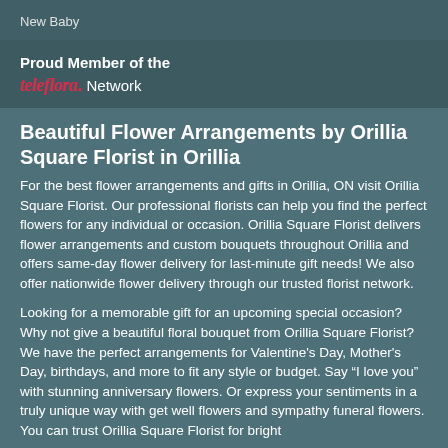New Baby
Proud Member of the
teleflora. Network
Beautiful Flower Arrangements by Orillia Square Florist in Orillia
For the best flower arrangements and gifts in Orillia, ON visit Orillia Square Florist. Our professional florists can help you find the perfect flowers for any individual or occasion. Orillia Square Florist delivers flower arrangements and custom bouquets throughout Orillia and offers same-day flower delivery for last-minute gift needs! We also offer nationwide flower delivery through our trusted florist network.
Looking for a memorable gift for an upcoming special occasion? Why not give a beautiful floral bouquet from Orillia Square Florist? We have the perfect arrangements for Valentine's Day, Mother's Day, birthdays, and more to fit any style or budget. Say “I love you” with stunning anniversary flowers. Or express your sentiments in a truly unique way with get well flowers and sympathy funeral flowers. You can trust Orillia Square Florist for bright